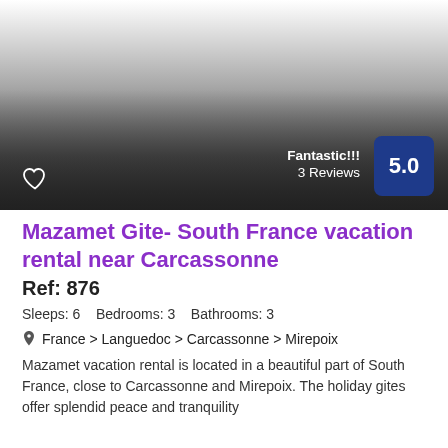[Figure (photo): Exterior photo of Mazamet Gite property in South France, shown with gradient overlay. Rating badge showing 5.0 Fantastic with 3 Reviews. Heart/favorite icon in bottom left.]
Mazamet Gite- South France vacation rental near Carcassonne
Ref: 876
Sleeps: 6    Bedrooms: 3    Bathrooms: 3
France > Languedoc > Carcassonne > Mirepoix
Mazamet vacation rental is located in a beautiful part of South France, close to Carcassonne and Mirepoix. The holiday gites offer splendid peace and tranquility